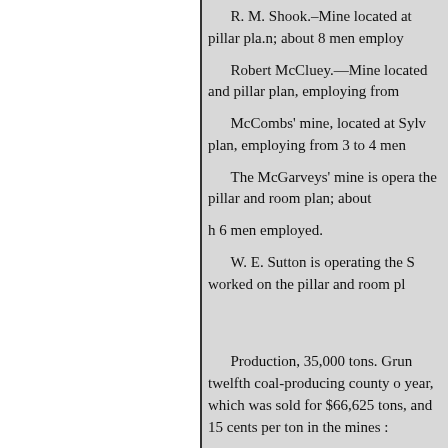R. M. Shook.–Mine located at pillar pla.n; about 8 men employ
Robert McCluey.—Mine located and pillar plan, employing from
McCombs' mine, located at Sylv plan, employing from 3 to 4 men
The McGarveys' mine is opera the pillar and room plan; about h 6 men employed.
W. E. Sutton is operating the S worked on the pillar and room pl
Production, 35,000 tons. Grun twelfth coal-producing county o year, which was sold for $66,625 tons, and 15 cents per ton in the mines :
TRENTON POSTOFFICE.